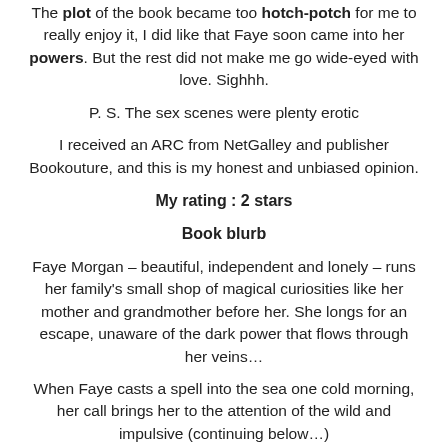The plot of the book became too hotch-potch for me to really enjoy it, I did like that Faye soon came into her powers. But the rest did not make me go wide-eyed with love. Sighhh.
P. S. The sex scenes were plenty erotic
I received an ARC from NetGalley and publisher Bookouture, and this is my honest and unbiased opinion.
My rating : 2 stars
Book blurb
Faye Morgan – beautiful, independent and lonely – runs her family's small shop of magical curiosities like her mother and grandmother before her. She longs for an escape, unaware of the dark power that flows through her veins…
When Faye casts a spell into the sea one cold morning, her call brings her to the attention of the wild and impulsive (continuing below…)